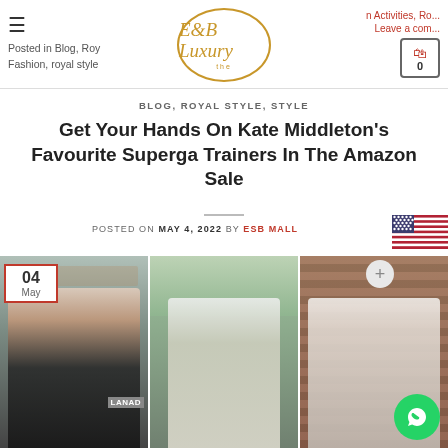E&B Luxury — Blog, Royal Fashion, royal style — Activities, Leave a comment — Cart 0
BLOG, ROYAL STYLE, STYLE
Get Your Hands On Kate Middleton's Favourite Superga Trainers In The Amazon Sale
POSTED ON MAY 4, 2022 BY ESB MALL
[Figure (photo): Three side-by-side photos of Kate Middleton wearing striped tops and casual outfits. Date badge showing 04 May in top-left corner.]